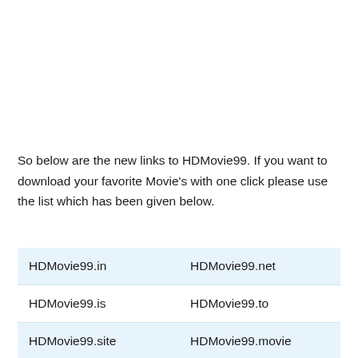So below are the new links to HDMovie99. If you want to download your favorite Movie's with one click please use the list which has been given below.
| HDMovie99.in | HDMovie99.net |
| HDMovie99.is | HDMovie99.to |
| HDMovie99.site | HDMovie99.movie |
| HDMovie99.vin | HDMovie99.cam |